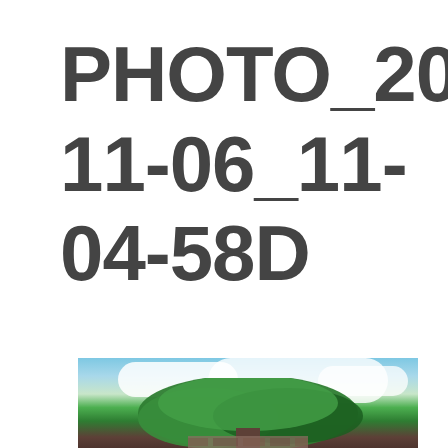PHOTO_2021-11-06_11-04-58D
[Figure (photo): Photograph showing a large green tree with a spreading canopy against a partly cloudy blue sky, with what appears to be stone ruins or a wall visible beneath the tree.]